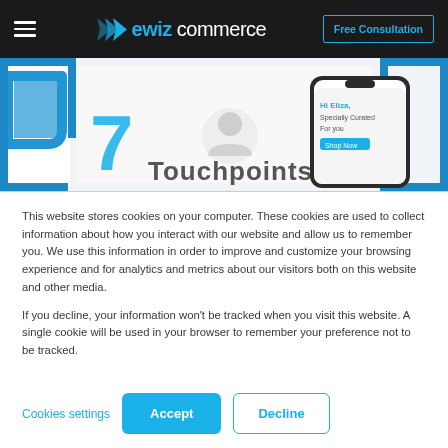ewizcommerce — Free Consultation
[Figure (screenshot): Partial hero banner showing a blue decorative frame with large number '7' and text 'Touchpoints', alongside a smartphone mockup showing a personalized email 'Hi Eliza, Specially Curated For you']
This website stores cookies on your computer. These cookies are used to collect information about how you interact with our website and allow us to remember you. We use this information in order to improve and customize your browsing experience and for analytics and metrics about our visitors both on this website and other media.
If you decline, your information won't be tracked when you visit this website. A single cookie will be used in your browser to remember your preference not to be tracked.
Cookies settings   Accept   Decline